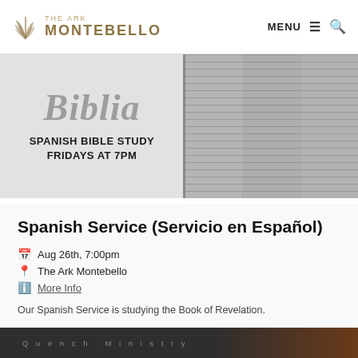THE ARK MONTEBELLO — MENU
[Figure (photo): Banner image showing 'Biblia' script text and Spanish Bible Study Fridays at 7PM text on left panel, with Bible pages visible on right panel]
Spanish Service (Servicio en Español)
Aug 26th, 7:00pm
The Ark Montebello
More Info
Our Spanish Service is studying the Book of Revelation.
[Figure (photo): Bottom preview of next section showing 'Quench Ministry' text on dark background]